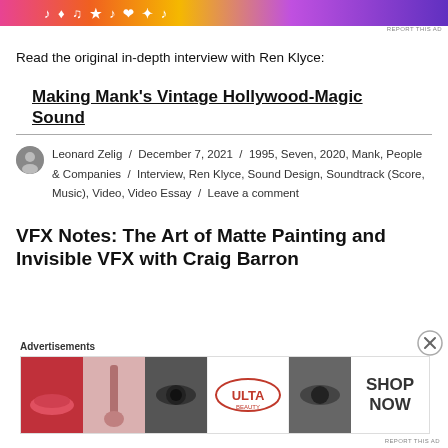[Figure (other): Colorful advertisement banner with music/party theme, gradient colors orange/pink/purple]
Read the original in-depth interview with Ren Klyce:
Making Mank's Vintage Hollywood-Magic Sound
Leonard Zelig / December 7, 2021 / 1995, Seven, 2020, Mank, People & Companies / Interview, Ren Klyce, Sound Design, Soundtrack (Score, Music), Video, Video Essay / Leave a comment
VFX Notes: The Art of Matte Painting and Invisible VFX with Craig Barron
Advertisements
[Figure (other): Ulta Beauty advertisement banner showing makeup/cosmetics imagery with SHOP NOW call to action]